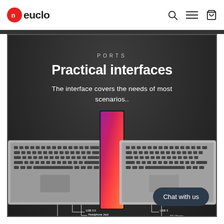neuclo — navigation header with search, menu, and cart icons
[Figure (photo): Product page screenshot showing two laptops back-to-back on a dark background with colorful smartphone/tablet between them. Text overlay reads PORTS / Practical interfaces / The interface covers the needs of most scenarios.. Port labels at bottom show USB 3.0, Headphone Jack, Micro SD on left side and USB 3, DC Charge on right side.]
Practical interfaces
The interface covers the needs of most scenarios..
Chat with us